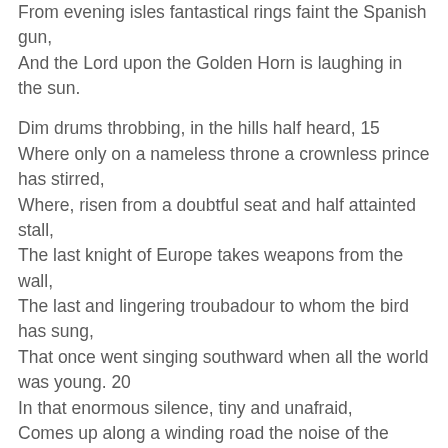From evening isles fantastical rings faint the Spanish gun,
And the Lord upon the Golden Horn is laughing in the sun.

Dim drums throbbing, in the hills half heard, 15
Where only on a nameless throne a crownless prince has stirred,
Where, risen from a doubtful seat and half attainted stall,
The last knight of Europe takes weapons from the wall,
The last and lingering troubadour to whom the bird has sung,
That once went singing southward when all the world was young. 20
In that enormous silence, tiny and unafraid,
Comes up along a winding road the noise of the Crusade.
Strong gongs groaning as the guns boom far,
Don John of Austria is going to the war,
Stiff flags straining in the night-blasts cold 25
In the gloom black-purple, in the glint old gold